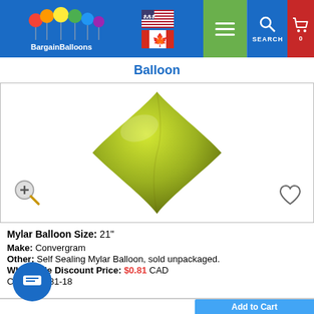BargainBalloons website header with logo, flags, navigation, search, and cart
Balloon
[Figure (photo): Diamond/rhombus shaped yellow-green mylar balloon with pointed tips at top, bottom, left, and right corners, on white background. Zoom icon (magnifying glass with plus) at bottom left, heart/wishlist icon at bottom right.]
Mylar Balloon Size: 21"
Make: Convergram
Other: Self Sealing Mylar Balloon, sold unpackaged.
Wholesale Discount Price: $0.81 CAD
Code: 17881-18